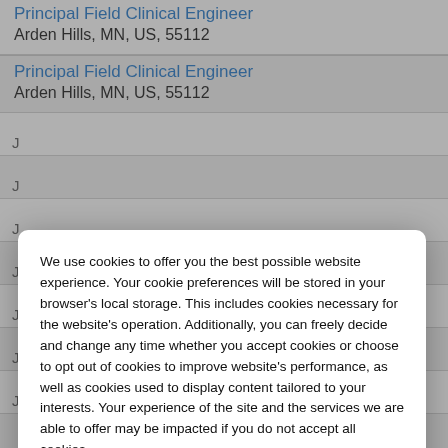Principal Field Clinical Engineer
Arden Hills, MN, US, 55112
Principal Field Clinical Engineer
Arden Hills, MN, US, 55112
We use cookies to offer you the best possible website experience. Your cookie preferences will be stored in your browser's local storage. This includes cookies necessary for the website's operation. Additionally, you can freely decide and change any time whether you accept cookies or choose to opt out of cookies to improve website's performance, as well as cookies used to display content tailored to your interests. Your experience of the site and the services we are able to offer may be impacted if you do not accept all cookies.
Modify Cookie Preferences
Accept All Cookies